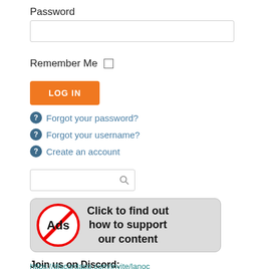Password
[Figure (screenshot): Password input field (empty text box)]
Remember Me ☐
[Figure (screenshot): Orange LOG IN button]
? Forgot your password?
? Forgot your username?
? Create an account
[Figure (screenshot): Search input box with magnifying glass icon]
[Figure (infographic): No-Ads banner: circle with 'Ads' crossed out in red, text 'Click to find out how to support our content']
Join us on Discord:
https://discordapp.com/invite/lanoc